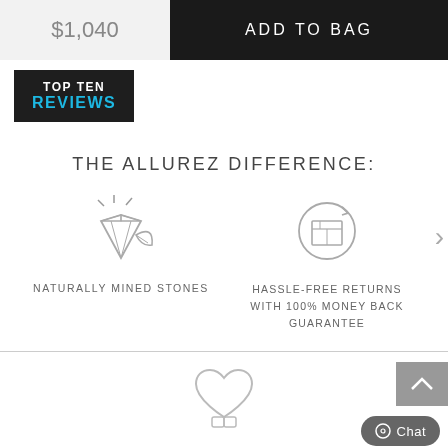$1,040
ADD TO BAG
[Figure (logo): Top Ten Reviews logo — white text 'TOP TEN' over blue 'REVIEWS' on dark background]
THE ALLUREZ DIFFERENCE:
[Figure (illustration): Diamond with sparkle lines and leaf icon (naturally mined stones)]
NATURALLY MINED STONES
[Figure (illustration): Shipping box with circular return arrow (hassle-free returns)]
HASSLE-FREE RETURNS WITH 100% MONEY BACK GUARANTEE
[Figure (illustration): Heart outline icon at bottom of page]